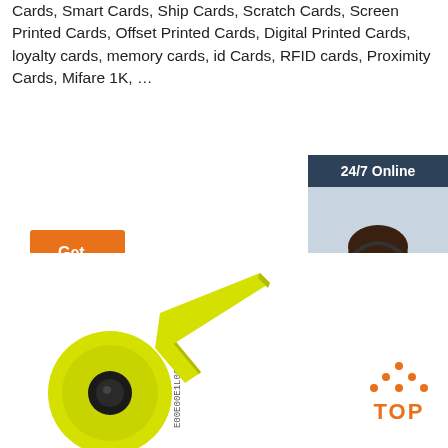Cards, Smart Cards, Ship Cards, Scratch Cards, Screen Printed Cards, Offset Printed Cards, Digital Printed Cards, loyalty cards, memory cards, id Cards, RFID cards, Proximity Cards, Mifare 1K, …
[Figure (other): Orange 'Get Price' button]
[Figure (other): 24/7 Online chat widget with photo of a woman wearing a headset, 'Click here for free chat!' text, and an orange QUOTATION button]
[Figure (photo): Yellow RFID ear tag product photo with text 'E00E00E1L0003' and applicator tool]
[Figure (logo): TOP logo with orange dot pattern above the letters TOP in orange]